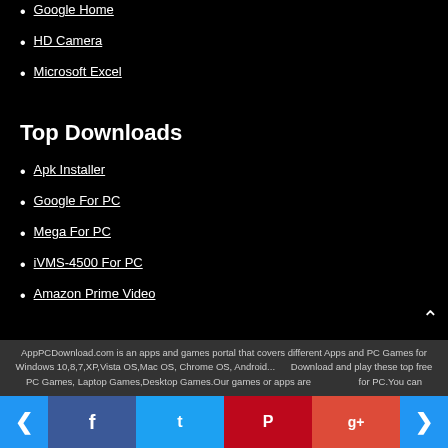Google Home
HD Camera
Microsoft Excel
Top Downloads
Apk Installer
Google For PC
Mega For PC
iVMS-4500 For PC
Amazon Prime Video
AppPCDownload.com is an apps and games portal that covers different Apps and PC Games for Windows 10,8,7,XP,Vista OS,Mac OS, Chrome OS, Android...Download and play these top free PC Games, Laptop Games,Desktop Games.Our games or apps are also available for PC.You can